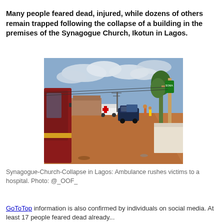Many people feared dead, injured, while dozens of others remain trapped following the collapse of a building in the premises of the Synagogue Church, Ikotun in Lagos.
[Figure (photo): Street scene showing an ambulance and vehicles on a dusty road, with trees, utility poles, and buildings in background. Scene relates to Synagogue Church collapse in Lagos.]
Synagogue-Church-Collapse in Lagos: Ambulance rushes victims to a hospital. Photo: @_OOF_
GoToTop information is also confirmed by individuals on social media. At least 17 people feared dead already...